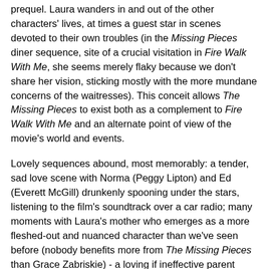prequel. Laura wanders in and out of the other characters' lives, at times a guest star in scenes devoted to their own troubles (in the Missing Pieces diner sequence, site of a crucial visitation in Fire Walk With Me, she seems merely flaky because we don't share her vision, sticking mostly with the more mundane concerns of the waitresses). This conceit allows The Missing Pieces to exist both as a complement to Fire Walk With Me and an alternate point of view of the movie's world and events.
Lovely sequences abound, most memorably: a tender, sad love scene with Norma (Peggy Lipton) and Ed (Everett McGill) drunkenly spooning under the stars, listening to the film's soundtrack over a car radio; many moments with Laura's mother who emerges as a more fleshed-out and nuanced character than we've seen before (nobody benefits more from The Missing Pieces than Grace Zabriskie) - a loving if ineffective parent clinging by her tobacco-stained fingernails to the edge of sanity; several sequences between Laura and Bobby which further expose the sensitivity beneath his tough veneer (while poignantly expanding Laura's cruel manipulation of him); and a strong monologue